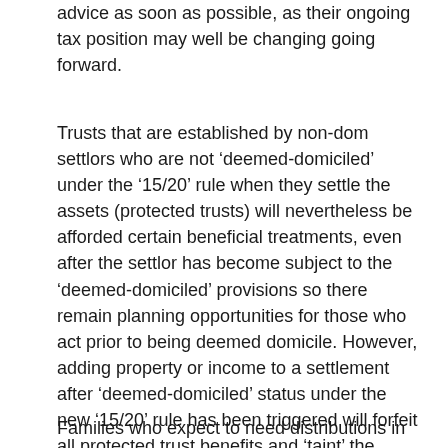advice as soon as possible, as their ongoing tax position may well be changing going forward.
Trusts that are established by non-dom settlors who are not ‘deemed-domiciled’ under the ‘15/20’ rule when they settle the assets (protected trusts) will nevertheless be afforded certain beneficial treatments, even after the settlor has become subject to the ‘deemed-domiciled’ provisions so there remain planning opportunities for those who act prior to being deemed domicile. However, adding property or income to a settlement after ‘deemed-domiciled’ status under the new ‘15/20’ rule has been triggered will forfeit all protected trust benefits and ‘taint’ the whole of the trust –  so trustees will need to monitor such matters very carefully.
Families who expect to need distributions in the